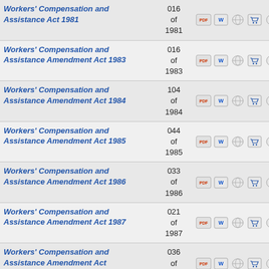| Act Name | Number | Icons |
| --- | --- | --- |
| Workers' Compensation and Assistance Act 1981 | 016 of 1981 (partial) | PDF, Word, Globe, Cart, Play |
| Workers' Compensation and Assistance Amendment Act 1983 | 016 of 1983 | PDF, Word, Globe, Cart, Play |
| Workers' Compensation and Assistance Amendment Act 1984 | 104 of 1984 | PDF, Word, Globe, Cart, Play |
| Workers' Compensation and Assistance Amendment Act 1985 | 044 of 1985 | PDF, Word, Globe, Cart, Play |
| Workers' Compensation and Assistance Amendment Act 1986 | 033 of 1986 | PDF, Word, Globe, Cart, Play |
| Workers' Compensation and Assistance Amendment Act 1987 | 021 of 1987 | PDF, Word, Globe, Cart, Play |
| Workers' Compensation and Assistance Amendment Act 1988 | 036 of 1988 | PDF, Word, Globe, Cart, Play |